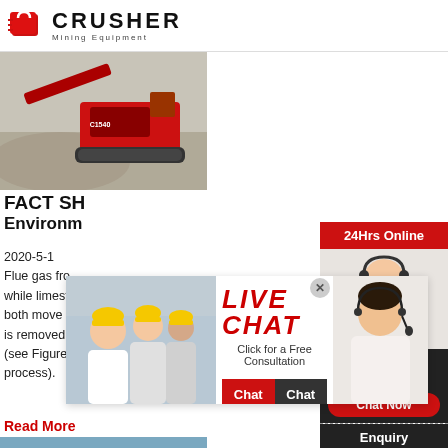[Figure (logo): Crusher Mining Equipment logo with red shopping bag icon and bold CRUSHER text]
[Figure (photo): Red mobile crushing machine on gravel/quarry site]
FACT SH... Environmental
2020-5-1 ... Flue gas from... while limestone slurry enters the absorber from both move in the counter-flow direction. In this is removed from flue gas in the form of gypsum, (see Figure 5: Overview of wet limestone-based process).
Read More
[Figure (photo): Blue industrial conveyor/machine equipment photo]
[Figure (infographic): 24Hrs Online sidebar with customer service agent photo, Need questions & suggestion, Chat Now button, Enquiry, limingjlmofen@sina.com]
[Figure (infographic): Live Chat popup overlay with workers in hard hats on left, LIVE CHAT text and Click for a Free Consultation, Chat now and Chat later buttons, customer service agent on right]